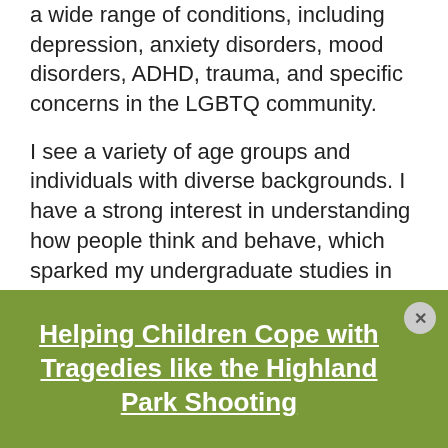a wide range of conditions, including depression, anxiety disorders, mood disorders, ADHD, trauma, and specific concerns in the LGBTQ community.
I see a variety of age groups and individuals with diverse backgrounds. I have a strong interest in understanding how people think and behave, which sparked my undergraduate studies in Brain, Behavior, and Cognitive Science at the University of Michigan in Ann Arbor, Michigan. I obtained my Master of Public Health at Boston University, and continue to invest time in not only understanding the person as a whole, but also understanding the impact of social,
[Figure (other): Green banner overlay with white underlined bold text reading 'Helping Children Cope with Tragedies like the Highland Park Shooting' and a close button (×) in the top right corner.]